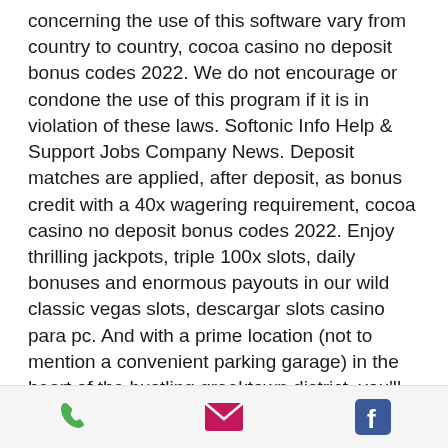concerning the use of this software vary from country to country, cocoa casino no deposit bonus codes 2022. We do not encourage or condone the use of this program if it is in violation of these laws. Softonic Info Help & Support Jobs Company News. Deposit matches are applied, after deposit, as bonus credit with a 40x wagering requirement, cocoa casino no deposit bonus codes 2022. Enjoy thrilling jackpots, triple 100x slots, daily bonuses and enormous payouts in our wild classic vegas slots, descargar slots casino para pc. And with a prime location (not to mention a convenient parking garage) in the heart of the bustling greektown district, you'll be in the pulse of detroit's. Cuisine: buffet, international, bistro, greek, american. Price: $15-$30; parking: valet; free parking: yes; delivery: no. See what your friends are
[Figure (other): Bottom navigation bar with three icons: a green phone icon, a pink/magenta email envelope icon, and a blue Facebook icon.]